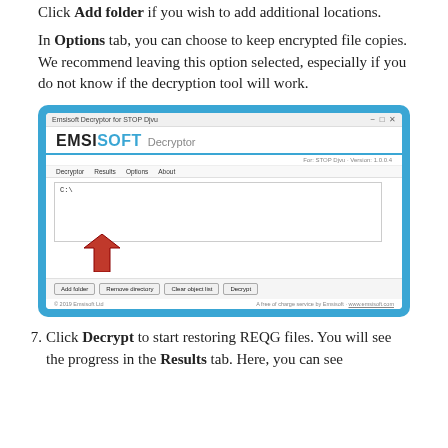Click Add folder if you wish to add additional locations.
In Options tab, you can choose to keep encrypted file copies. We recommend leaving this option selected, especially if you do not know if the decryption tool will work.
[Figure (screenshot): Screenshot of the Emsisoft Decryptor application window showing the Decryptor tab with a file path field, a red arrow pointing to the Add folder button, and buttons: Add folder, Remove directory, Clear object list, Decrypt. Copyright 2019 Emsisoft Ltd.]
Click Decrypt to start restoring REQG files. You will see the progress in the Results tab. Here, you can see